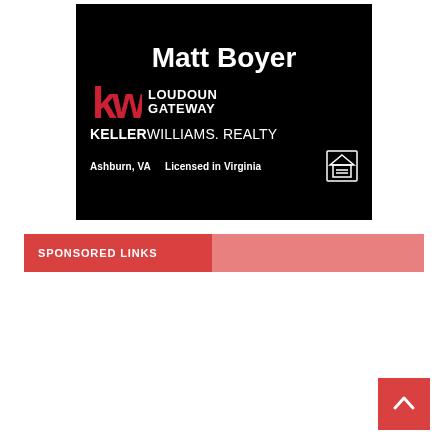[Figure (advertisement): Real estate advertisement banner for Matt Boyer, Keller Williams Realty Loudoun Gateway, Ashburn VA, Licensed in Virginia. Black background with white and red KW logo.]
SPONSORED LINKS
[Figure (other): Back to top button — red square with white upward chevron arrow in the bottom right corner.]